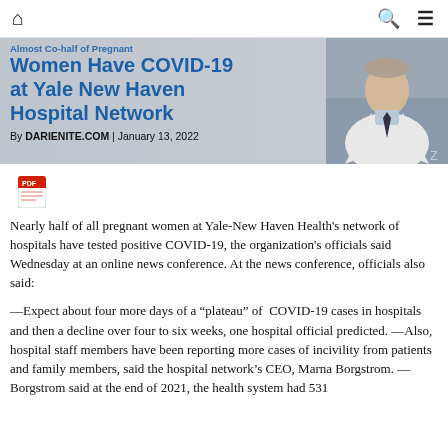🏠  🔍  ☰
Almost Half of Pregnant Women Have COVID-19 at Yale New Haven Hospital Network
By DARIENITE.COM | January 13, 2022
[Figure (photo): Doctor in white coat speaking at news conference]
Nearly half of all pregnant women at Yale-New Haven Health's network of hospitals have tested positive COVID-19, the organization's officials said Wednesday at an online news conference. At the news conference, officials also said:
—Expect about four more days of a “plateau” of COVID-19 cases in hospitals and then a decline over four to six weeks, one hospital official predicted. —Also, hospital staff members have been reporting more cases of incivility from patients and family members, said the hospital network’s CEO, Marna Borgstrom. —Borgstrom said at the end of 2021, the health system had 531